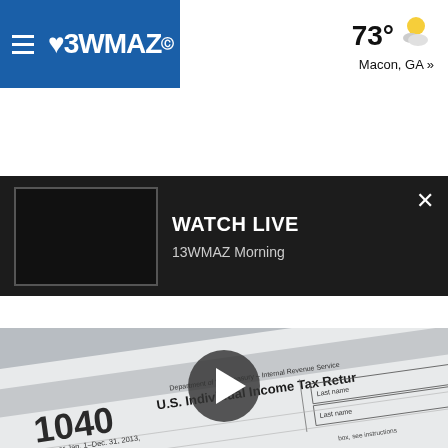[Figure (screenshot): 13WMAZ CBS news website header. Blue navigation bar on the left with hamburger menu icon and 13WMAZ CBS logo in white. Top right shows weather: 73° with partly cloudy icon, Macon, GA link.]
[Figure (screenshot): Watch Live banner on dark background with a black video thumbnail on the left, WATCH LIVE heading, 13WMAZ Morning subtext, and an X close button on the right.]
[Figure (other): Gray hatched advertisement area placeholder.]
[Figure (photo): Close-up photo of IRS Form 1040 U.S. Individual Income Tax Return for the year Jan. 1-Dec. 31, 2013, with a play button overlay indicating this is a video thumbnail.]